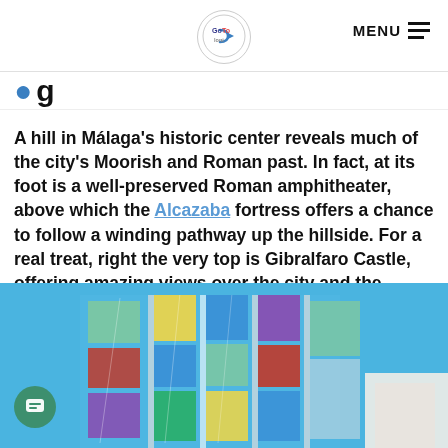TheGoToLoni — MENU
A hill in Málaga's historic center reveals much of the city's Moorish and Roman past. In fact, at its foot is a well-preserved Roman amphitheater, above which the Alcazaba fortress offers a chance to follow a winding pathway up the hillside. For a real treat, right the very top is Gibralfaro Castle, offering amazing views over the city and the Mediterranean Sea.
[Figure (photo): Colorful modern building with multicolored glass panels (blue, yellow, green, red, purple) against a bright blue sky, viewed from below at an angle. Appears to be a contemporary art center or museum.]